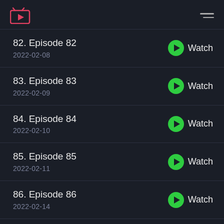TV logo and hamburger menu
82. Episode 82
2022-02-08
83. Episode 83
2022-02-09
84. Episode 84
2022-02-10
85. Episode 85
2022-02-11
86. Episode 86
2022-02-14
87. Episode 87
2022-02-15